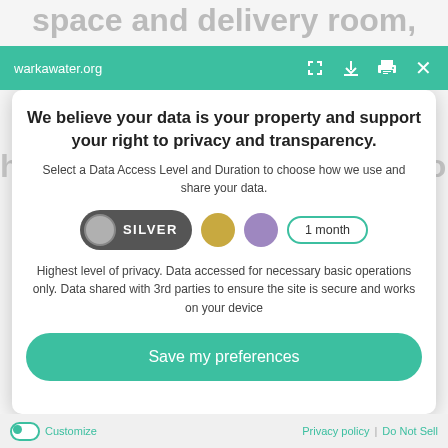space and delivery room, health education, and traditional natu...
warkawater.org
We believe your data is your property and support your right to privacy and transparency.
Select a Data Access Level and Duration to choose how we use and share your data.
[Figure (infographic): Silver privacy level selector pill with silver circle icon and SILVER label, gold circle option, purple circle option, and 1 month duration pill]
Highest level of privacy. Data accessed for necessary basic operations only. Data shared with 3rd parties to ensure the site is secure and works on your device
Save my preferences
Customize | Privacy policy | Do Not Sell